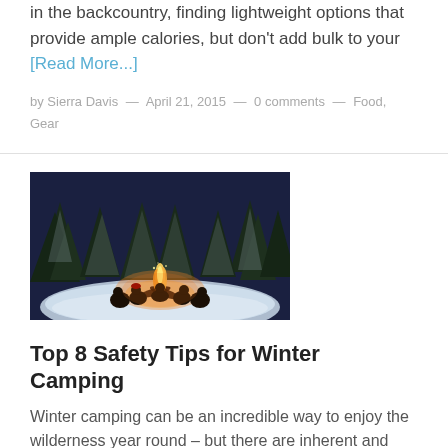in the backcountry, finding lightweight options that provide ample calories, but don't add bulk to your [Read More...]
by Sierra Davis — April 21, 2015 — 0 comments — Food, Gear
[Figure (photo): Group of people sitting around a campfire in a snowy forest at night with snow-covered pine trees in the background]
Top 8 Safety Tips for Winter Camping
Winter camping can be an incredible way to enjoy the wilderness year round – but there are inherent and hidden dangers. Adequate planning and